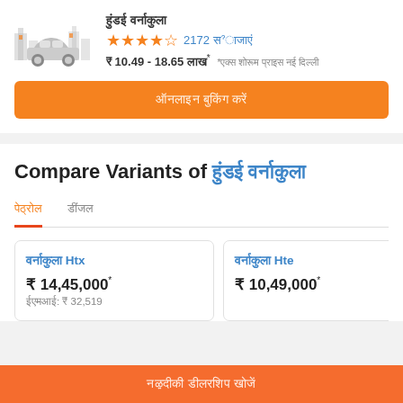[Figure (illustration): Car silhouette icon with building/city background in grey tones]
हुंडई वर्नाकुला
★★★★½ 2172 समीक्षाएं
₹ 10.49 - 18.65 लाख* *एक्स शोरूम प्राइस नई दिल्ली
ऑनलाइन बुकिंग करें
Compare Variants of हुंडई वर्नाकुला
पेट्रोल    डीजल
वर्नाकुला Htx
₹ 14,45,000*   ईएमआई: ₹ 32,519
वर्नाकुला Hte
₹ 10,49,000*
नज़दीकी डीलरशिप खोजें